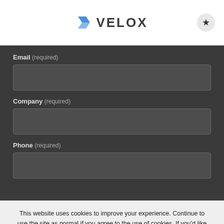VELOX
Email (required)
Company (required)
Phone (required)
This website uses cookies to improve your experience. Continue to use the site as normal if you agree to the use of cookies. If you'd like to find out more about the cookies we use or to opt-out, please see our Terms of Use.
ACCEPT
X